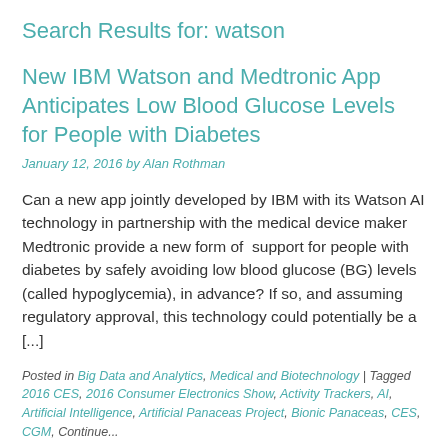Search Results for: watson
New IBM Watson and Medtronic App Anticipates Low Blood Glucose Levels for People with Diabetes
January 12, 2016 by Alan Rothman
Can a new app jointly developed by IBM with its Watson AI technology in partnership with the medical device maker Medtronic provide a new form of  support for people with diabetes by safely avoiding low blood glucose (BG) levels (called hypoglycemia), in advance? If so, and assuming regulatory approval, this technology could potentially be a [...]
Posted in Big Data and Analytics, Medical and Biotechnology | Tagged 2016 CES, 2016 Consumer Electronics Show, Activity Trackers, AI, Artificial Intelligence, Artificial Panaceas Project, Bionic Panaceas, CES, CGM, Continue...